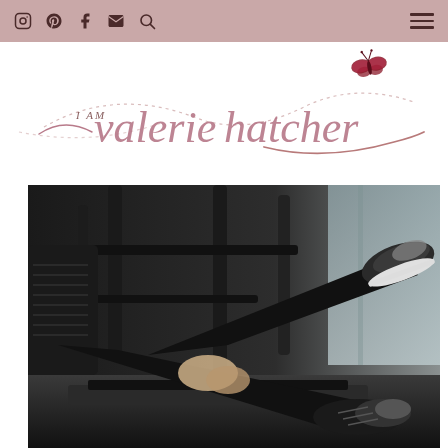Navigation bar with social icons (Instagram, Pinterest, Facebook, Email, Search) and hamburger menu
[Figure (logo): I AM valerie hatcher logo with decorative script font, dotted swirl lines, and a red glitter butterfly, on white background]
[Figure (photo): Woman in black athletic wear and black sneakers stretching legs on gym equipment, dark moody gym background]